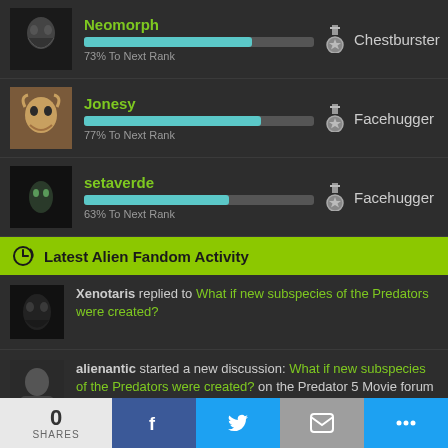Neomorph — 73% To Next Rank — Chestburster
Jonesy — 77% To Next Rank — Facehugger
setaverde — 63% To Next Rank — Facehugger
Latest Alien Fandom Activity
Xenotaris replied to What if new subspecies of the Predators were created?
alienantic started a new discussion: What if new subspecies of the Predators were created? on the Predator 5 Movie forum
Xenotaris commented on New Aliens: Fireteam Elite expansion introduces Pathogen Alien Queen boss fights! from the Alien: Covenant website!
0 SHARES | Facebook | Twitter | Email | More